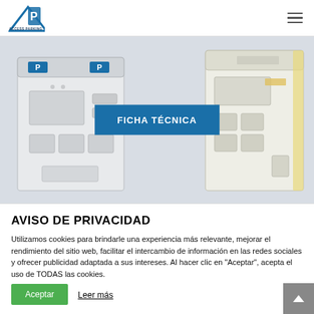Access Parking
[Figure (photo): Hero image showing two parking kiosk machines side by side with blurred/faded appearance, with a blue FICHA TÉCNICA button overlaid in the center]
AVISO DE PRIVACIDAD
Utilizamos cookies para brindarle una experiencia más relevante, mejorar el rendimiento del sitio web, facilitar el intercambio de información en las redes sociales y ofrecer publicidad adaptada a sus intereses. Al hacer clic en "Aceptar", acepta el uso de TODAS las cookies.
Aceptar
Leer más